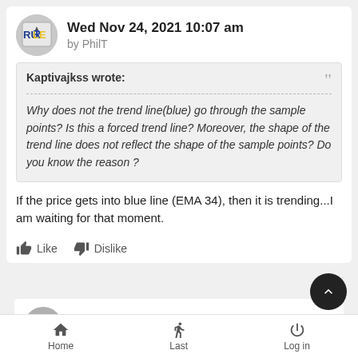Wed Nov 24, 2021 10:07 am by PhilT
Kaptivajkss wrote: Why does not the trend line(blue) go through the sample points? Is this a forced trend line? Moreover, the shape of the trend line does not reflect the shape of the sample points? Do you know the reason ?
If the price gets into blue line (EMA 34), then it is trending...I am waiting for that moment.
Like  Dislike
Wed Nov 24, 2021 10:19 am
Home  Last  Log in